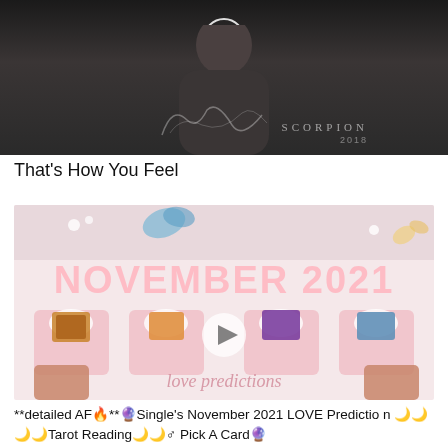[Figure (photo): Dark album cover thumbnail showing a person with 'SCORPION 2018' text and a signature, with a play button overlay at top]
That's How You Feel
[Figure (photo): YouTube video thumbnail showing 'NOVEMBER 2021' text in pink on a white background with four crystal/gemstone cards laid out, hands with red nails touching the cards, and 'love predictions' in cursive text below. A play button is centered on the image.]
**detailed AF🔥**🔮Single's November 2021 LOVE Prediction 🌙🌙🌙🌙Tarot Reading🌙🌙♂ Pick A Card🔮